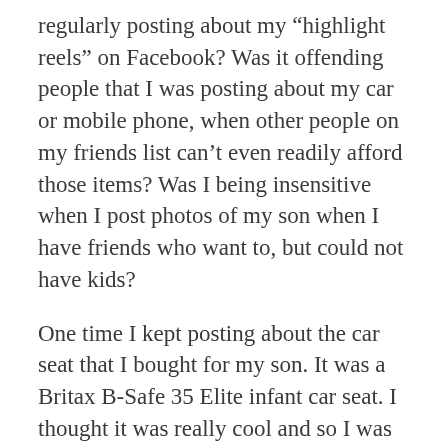regularly posting about my “highlight reels” on Facebook? Was it offending people that I was posting about my car or mobile phone, when other people on my friends list can’t even readily afford those items? Was I being insensitive when I post photos of my son when I have friends who want to, but could not have kids?
One time I kept posting about the car seat that I bought for my son. It was a Britax B-Safe 35 Elite infant car seat. I thought it was really cool and so I was regularly posting photos of it online. At one point a friend commented, asking me if I was advertising the car seat. I was like “no, I’m